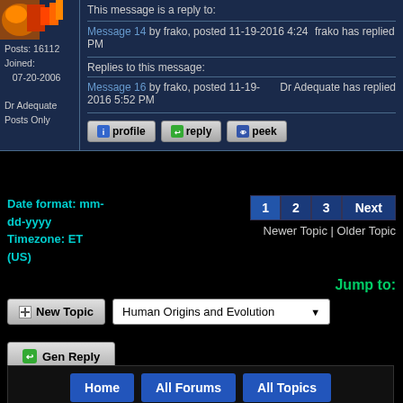[Figure (screenshot): Forum post interface showing reply information, message links, profile/reply/peek buttons, pagination, topic navigation, new topic and gen reply buttons, dropdown for Human Origins and Evolution, and footer navigation buttons (Home, All Forums, All Topics, Do Nothing Button, Contact Us)]
This message is a reply to:
Message 14 by frako, posted 11-19-2016 4:24 PM
frako has replied
Posts: 16112
Joined:
    07-20-2006

Dr Adequate
Posts Only
Replies to this message:
Message 16 by frako, posted 11-19-2016 5:52 PM
Dr Adequate has replied
profile    reply    peek
Date format: mm-dd-yyyy
Timezone: ET (US)
1  2  3  Next
Newer Topic | Older Topic
Jump to:
New Topic
Human Origins and Evolution
Gen Reply
Home   All Forums   All Topics   Do Nothing Button   Contact Us